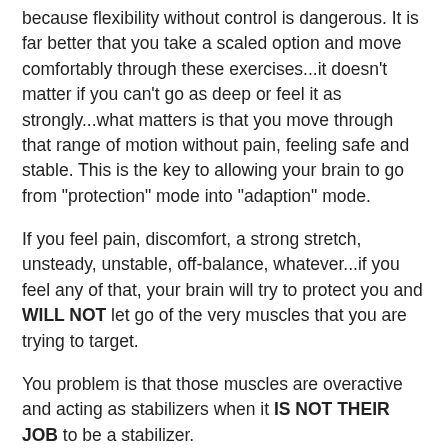because flexibility without control is dangerous. It is far better that you take a scaled option and move comfortably through these exercises...it doesn't matter if you can't go as deep or feel it as strongly...what matters is that you move through that range of motion without pain, feeling safe and stable. This is the key to allowing your brain to go from "protection" mode into "adaption" mode.
If you feel pain, discomfort, a strong stretch, unsteady, unstable, off-balance, whatever...if you feel any of that, your brain will try to protect you and WILL NOT let go of the very muscles that you are trying to target.
You problem is that those muscles are overactive and acting as stabilizers when it IS NOT THEIR JOB to be a stabilizer.
Retraining the brain is what we are trying to do here. If you want the brain to cooperate, make it feel safe and supported.